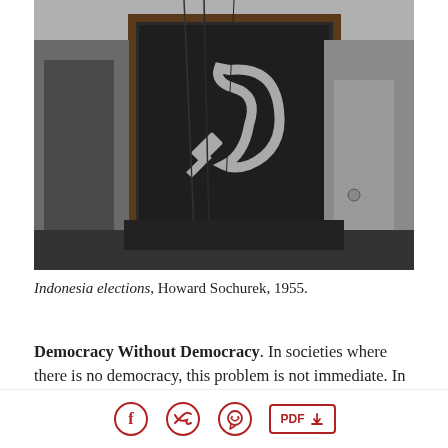[Figure (photo): Black and white photograph of Indonesian elections, 1955. Shows a large dark panel or voting booth with hammer and sickle symbol painted on it, with people standing around it and electrical wires visible.]
Indonesia elections, Howard Sochurek, 1955.
Democracy Without Democracy. In societies where there is no democracy, this problem is not immediate. In such places, the immediate task is to win the fullest democracy. In those
Facebook Twitter WhatsApp PDF